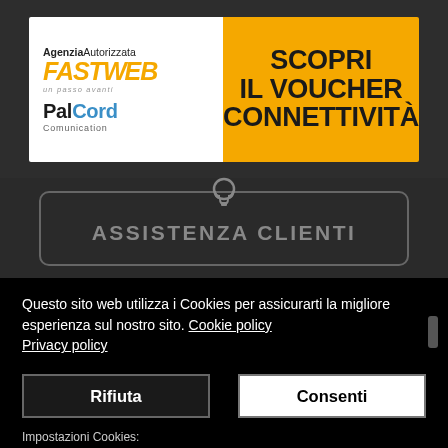[Figure (logo): Agenzia Autorizzata FASTWEB PalCord Comunication banner with yellow 'SCOPRI IL VOUCHER CONNETTIVITÀ' on right side]
[Figure (other): ASSISTENZA CLIENTI button/label with headset icon, dark rounded rectangle]
Questo sito web utilizza i Cookies per assicurarti la migliore esperienza sul nostro sito. Cookie policy Privacy policy
Rifiuta
Consenti
Impostazioni Cookies: Necessari | Preferenze | Statistiche